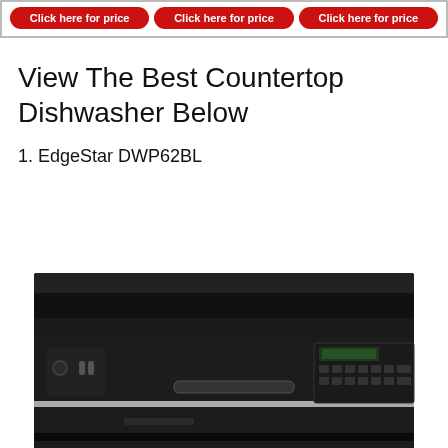[Figure (other): Three red rounded rectangle buttons side by side reading 'Click here for price', inside a bordered box]
View The Best Countertop Dishwasher Below
1. EdgeStar DWP62BL
[Figure (photo): Photo of a black countertop dishwasher, the EdgeStar DWP62BL, showing the front panel with controls on the right side and a handle in the center.]